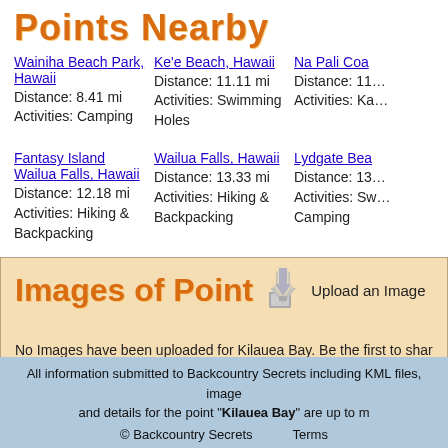Points Nearby
Wainiha Beach Park, Hawaii
Distance: 8.41 mi
Activities: Camping
Ke'e Beach, Hawaii
Distance: 11.11 mi
Activities: Swimming Holes
Na Pali Coa...
Distance: 11...
Activities: Ka...
Fantasy Island Wailua Falls, Hawaii
Distance: 12.18 mi
Activities: Hiking & Backpacking
Wailua Falls, Hawaii
Distance: 13.33 mi
Activities: Hiking & Backpacking
Lydgate Bea...
Distance: 13...
Activities: Sw... Camping
[Figure (other): Images of Point section with upload icon and upload button]
No Images have been uploaded for Kilauea Bay. Be the first to shar your image by uploading one now.
All information submitted to Backcountry Secrets including KML files, image and details for the point "Kilauea Bay" are up to m
© Backcountry Secrets   Terms